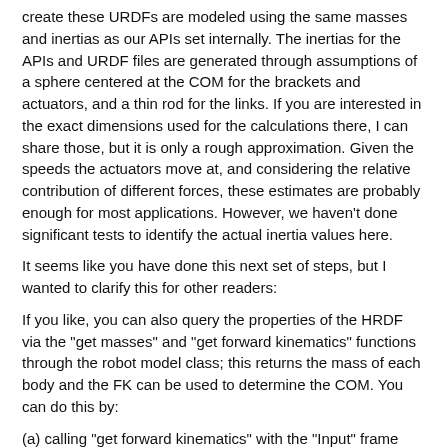create these URDFs are modeled using the same masses and inertias as our APIs set internally. The inertias for the APIs and URDF files are generated through assumptions of a sphere centered at the COM for the brackets and actuators, and a thin rod for the links. If you are interested in the exact dimensions used for the calculations there, I can share those, but it is only a rough approximation. Given the speeds the actuators move at, and considering the relative contribution of different forces, these estimates are probably enough for most applications. However, we haven't done significant tests to identify the actual inertia values here.
It seems like you have done this next set of steps, but I wanted to clarify this for other readers:
If you like, you can also query the properties of the HRDF via the "get masses" and "get forward kinematics" functions through the robot model class; this returns the mass of each body and the FK can be used to determine the COM. You can do this by:
(a) calling "get forward kinematics" with the "Input" frame type
(b) calling "get forward kinematics" with the "Center of Mass" frame type
(c) transforming the COM 4x4 transform by the inverse of the input frame 4x4 transform to get the COM relative to the input of that element.
The small difference you noted here is due to periodic adjustment of the masses and center of masses as we refine our estimates. For example, small hardware changes may result in tiny changes of the mass between